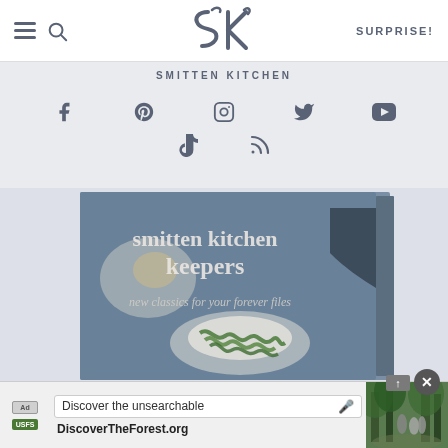Smitten Kitchen — SURPRISE!
SMITTEN KITCHEN
[Figure (logo): SK stylized logo in slate blue]
[Figure (infographic): Social media icons: Facebook, Pinterest, Instagram, Twitter, YouTube, TikTok, RSS]
[Figure (photo): Book cover: smitten kitchen keepers — new classics for your forever files, showing green pasta on a plate]
[Figure (screenshot): Ad banner: Discover the unsearchable / DiscoverTheForest.org with photo of hikers in forest]